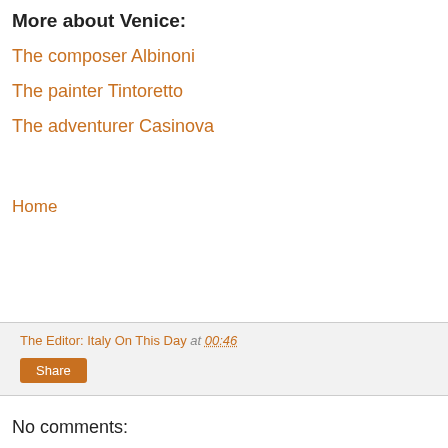More about Venice:
The composer Albinoni
The painter Tintoretto
The adventurer Casinova
Home
The Editor: Italy On This Day at 00:46
Share
No comments: